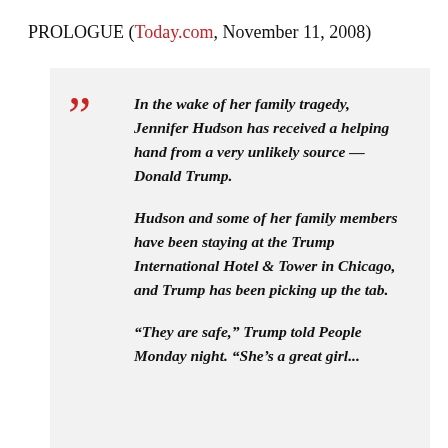PROLOGUE (Today.com, November 11, 2008)
In the wake of her family tragedy, Jennifer Hudson has received a helping hand from a very unlikely source — Donald Trump.

Hudson and some of her family members have been staying at the Trump International Hotel & Tower in Chicago, and Trump has been picking up the tab.

"They are safe," Trump told People Monday night. "She's a great girl...